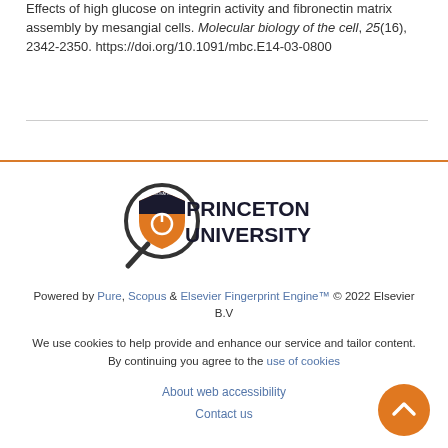Effects of high glucose on integrin activity and fibronectin matrix assembly by mesangial cells. Molecular biology of the cell, 25(16), 2342-2350. https://doi.org/10.1091/mbc.E14-03-0800
[Figure (logo): Princeton University logo with magnifying glass icon and shield, text reads PRINCETON UNIVERSITY]
Powered by Pure, Scopus & Elsevier Fingerprint Engine™ © 2022 Elsevier B.V
We use cookies to help provide and enhance our service and tailor content. By continuing you agree to the use of cookies
About web accessibility
Contact us